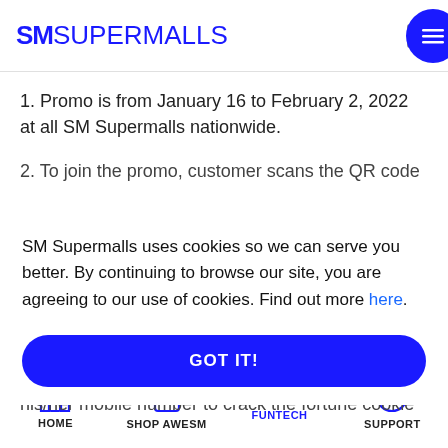SM SUPERMALLS
1. Promo is from January 16 to February 2, 2022 at all SM Supermalls nationwide.
2. To join the promo, customer scans the QR code...
SM Supermalls uses cookies so we can serve you better. By continuing to browse our site, you are agreeing to our use of cookies. Find out more here.
GOT IT!
his/her mobile number to crack the fortune cookie
HOME | SHOP AWESM | FUN TECH FUNTECH | SUPPORT